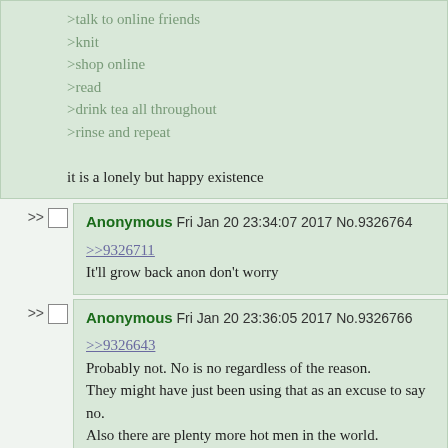>talk to online friends
>knit
>shop online
>read
>drink tea all throughout
>rinse and repeat
it is a lonely but happy existence
Anonymous Fri Jan 20 23:34:07 2017 No.9326764
>>9326711
It'll grow back anon don't worry
Anonymous Fri Jan 20 23:36:05 2017 No.9326766
>>9326643
Probably not. No is no regardless of the reason. They might have just been using that as an excuse to say no.
Also there are plenty more hot men in the world.
Anonymous Sat Jan 21 01:05:23 2017 No.9326834
Quoted by: >>9326881